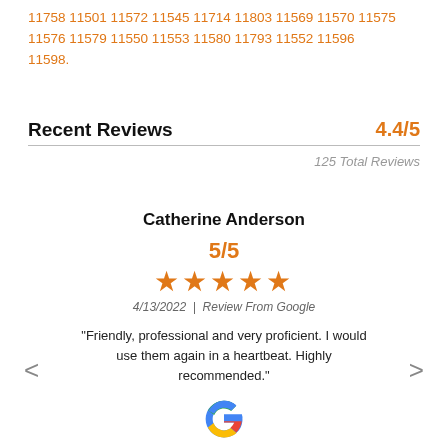11758 11501 11572 11545 11714 11803 11569 11570 11575 11576 11579 11550 11553 11580 11793 11552 11596 11598.
Recent Reviews 4.4/5
125 Total Reviews
Catherine Anderson
5/5
★★★★★
4/13/2022 | Review From Google
"Friendly, professional and very proficient. I would use them again in a heartbeat. Highly recommended."
[Figure (logo): Google logo - colorful G icon]